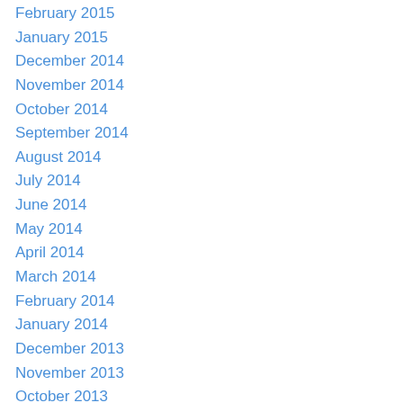February 2015
January 2015
December 2014
November 2014
October 2014
September 2014
August 2014
July 2014
June 2014
May 2014
April 2014
March 2014
February 2014
January 2014
December 2013
November 2013
October 2013
March 2013